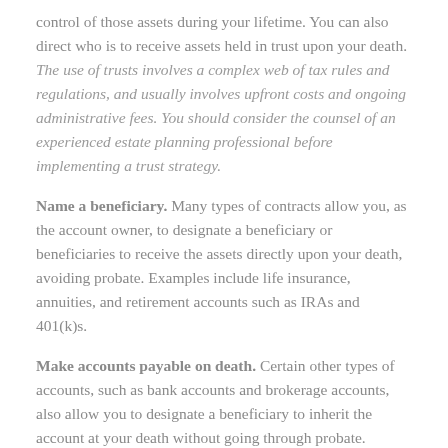control of those assets during your lifetime. You can also direct who is to receive assets held in trust upon your death. The use of trusts involves a complex web of tax rules and regulations, and usually involves upfront costs and ongoing administrative fees. You should consider the counsel of an experienced estate planning professional before implementing a trust strategy.
Name a beneficiary. Many types of contracts allow you, as the account owner, to designate a beneficiary or beneficiaries to receive the assets directly upon your death, avoiding probate. Examples include life insurance, annuities, and retirement accounts such as IRAs and 401(k)s.
Make accounts payable on death. Certain other types of accounts, such as bank accounts and brokerage accounts, also allow you to designate a beneficiary to inherit the account at your death without going through probate.